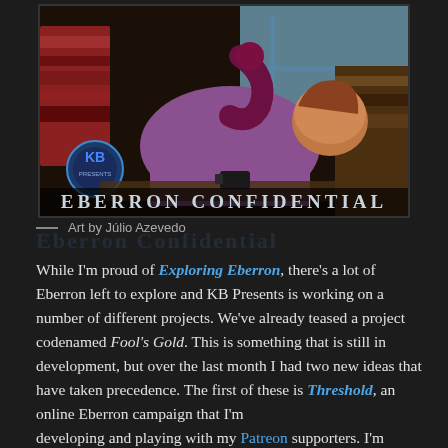[Figure (illustration): Fantasy illustration showing a robed figure slumped over a desk covered in books, with a tentacled creature on their back. KB Presents logo in lower left. Title 'EBERRON CONFIDENTIAL' at bottom of image. Art by Júlio Azevedo.]
— Art by Júlio Azevedo
While I'm proud of Exploring Eberron, there's a lot of Eberron left to explore and KB Presents is working on a number of different projects. We've already teased a project codenamed Fool's Gold. This is something that is still in development, but over the last month I had two new ideas that have taken precedence. The first of these is Threshold, an online Eberron campaign that I'm developing and playing with my Patreon supporters. I'm